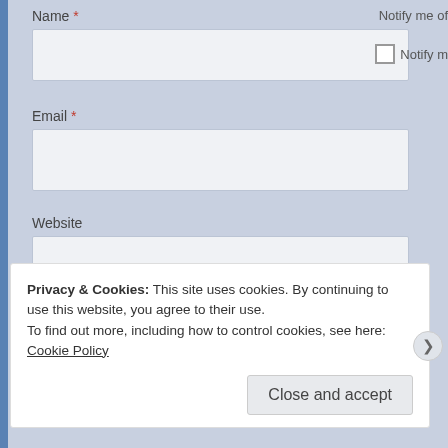Name *
Notify me of
Email *
Website
Post Comment
Privacy & Cookies: This site uses cookies. By continuing to use this website, you agree to their use.
To find out more, including how to control cookies, see here: Cookie Policy
Close and accept